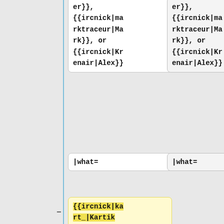er}}, {{ircnick|marktraceur|Mark}}, or {{ircnick|Krenair|Alex}} (left column, top)
er}}, {{ircnick|marktraceur|Mark}}, or {{ircnick|Krenair|Alex}} (right column, top)
|what= (left)
|what= (right)
{{ircnick|kart_|Kartik Mistry}}
* [wmf15] {{gerrit|274340}} Translator widget: Fix js error if translator doesn't have recent contribution